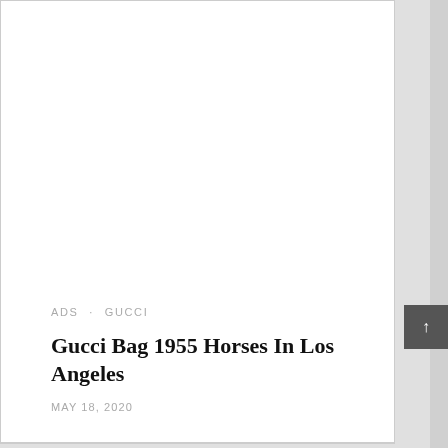ADS · GUCCI
Gucci Bag 1955 Horses In Los Angeles
MAY 18, 2020